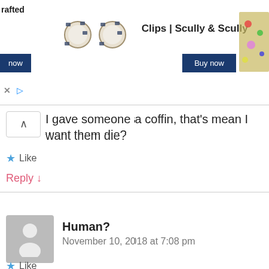[Figure (screenshot): Advertisement banner for Clips | Scully & Scully showing pearl earrings, 'Buy now' button, and playback controls]
I gave someone a coffin, that's mean I want them die?
Like
Reply ↓
Human?
November 10, 2018 at 7:08 pm
Not if you gave it to a vampire
Like